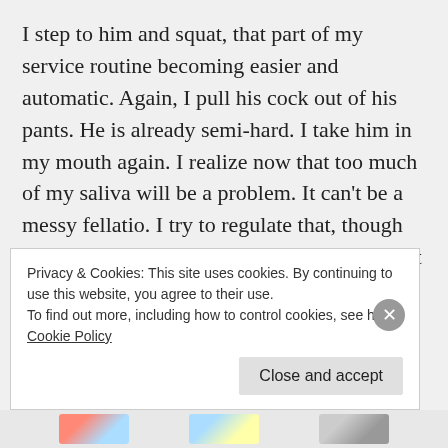I step to him and squat, that part of my service routine becoming easier and automatic. Again, I pull his cock out of his pants. He is already semi-hard. I take him in my mouth again. I realize now that too much of my saliva will be a problem. It can't be a messy fellatio. I try to regulate that, though part of my own arousal is a thirst for him that makes me salivate. I can't help myself.
I feel his taps on the top of my head. I stop, but
Privacy & Cookies: This site uses cookies. By continuing to use this website, you agree to their use.
To find out more, including how to control cookies, see here: Cookie Policy
Close and accept